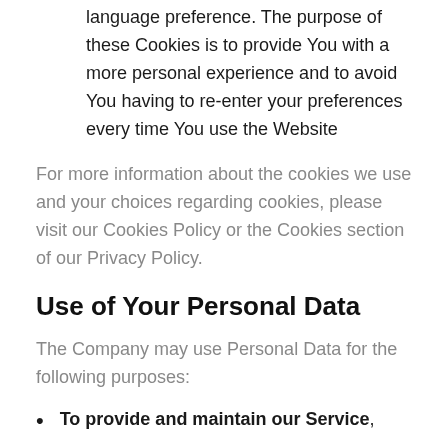language preference. The purpose of these Cookies is to provide You with a more personal experience and to avoid You having to re-enter your preferences every time You use the Website
For more information about the cookies we use and your choices regarding cookies, please visit our Cookies Policy or the Cookies section of our Privacy Policy.
Use of Your Personal Data
The Company may use Personal Data for the following purposes:
To provide and maintain our Service,